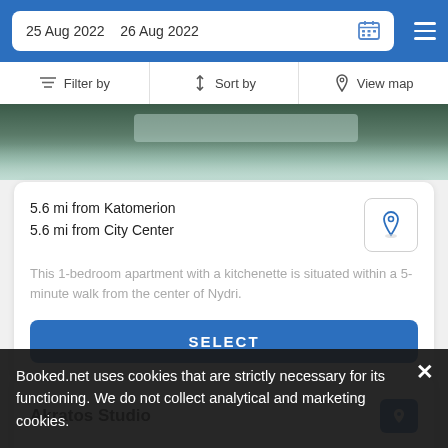25 Aug 2022   26 Aug 2022
Filter by   Sort by   View map
[Figure (photo): Partial photo of a room or pool area, partially cropped at the top]
5.6 mi from Katomerion
5.6 mi from City Center
This 1-bedroom apartment with a kitchenette is situated within a 5-minute walk from the center of Nydri.
SELECT
Akratos Studio
Booked.net uses cookies that are strictly necessary for its functioning. We do not collect analytical and marketing cookies.